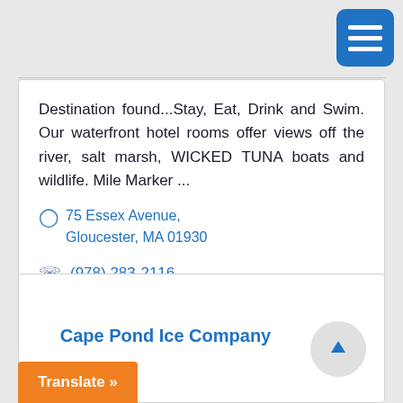[Figure (other): Blue hamburger menu button (three horizontal white lines on blue rounded rectangle background) in top right corner]
Destination found...Stay, Eat, Drink and Swim. Our waterfront hotel rooms offer views off the river, salt marsh, WICKED TUNA boats and wildlife. Mile Marker ...
75 Essex Avenue, Gloucester, MA 01930
(978) 283-2116
Cape Pond Ice Company
Translate »